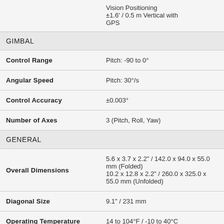| Property | Value |
| --- | --- |
|  | Vision Positioning
±1.6′ / 0.5 m Vertical with GPS |
| GIMBAL |  |
| Control Range | Pitch: -90 to 0° |
| Angular Speed | Pitch: 30°/s |
| Control Accuracy | ±0.003° |
| Number of Axes | 3 (Pitch, Roll, Yaw) |
| GENERAL |  |
| Overall Dimensions | 5.6 x 3.7 x 2.2" / 142.0 x 94.0 x 55.0 mm (Folded)
10.2 x 12.8 x 2.2" / 260.0 x 325.0 x 55.0 mm (Unfolded) |
| Diagonal Size | 9.1" / 231 mm |
| Operating Temperature | 14 to 104°F / -10 to 40°C |